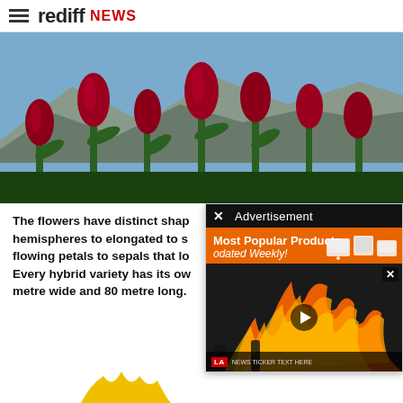rediff NEWS
[Figure (photo): Field of red/pink tulips in bloom with green stems, mountains in background, blue sky]
The flowers have distinct shapes from hemispheres to elongated to s... flowing petals to sepals that lo... Every hybrid variety has its ow... metre wide and 80 metre long.
[Figure (screenshot): Advertisement overlay with black header showing 'x' close button and 'Advertisement' text, orange banner with 'Most Popular Products' and 'odated Weekly!' text with product icons, and a video player showing fire/flames scene with a news bar at bottom showing 'LA' location badge and text, with an X close button at top right of video]